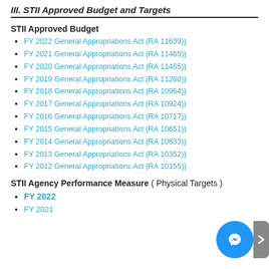III. STII Approved Budget and Targets
STII Approved Budget
FY 2022 General Appropriations Act (RA 11639)
FY 2021 General Appropriations Act (RA 11465)
FY 2020 General Appropriations Act (RA 11465)
FY 2019 General Appropriations Act (RA 11260)
FY 2018 General Appropriations Act (RA 10964)
FY 2017 General Appropriations Act (RA 10924)
FY 2016 General Appropriations Act (RA 10717)
FY 2015 General Appropriations Act (RA 10651)
FY 2014 General Appropriations Act (RA 10633)
FY 2013 General Appropriations Act (RA 10352)
FY 2012 General Appropriations Act (RA 10155)
STII Agency Performance Measure ( Physical Targets )
FY 2022
FY 2021